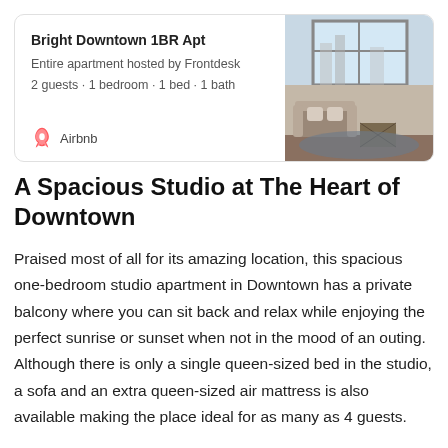[Figure (other): Airbnb listing card showing apartment photo on the right and listing details on the left: title 'Bright Downtown 1BR Apt', 'Entire apartment hosted by Frontdesk', '2 guests · 1 bedroom · 1 bed · 1 bath', Airbnb logo and 'Airbnb' text]
A Spacious Studio at The Heart of Downtown
Praised most of all for its amazing location, this spacious one-bedroom studio apartment in Downtown has a private balcony where you can sit back and relax while enjoying the perfect sunrise or sunset when not in the mood of an outing. Although there is only a single queen-sized bed in the studio, a sofa and an extra queen-sized air mattress is also available making the place ideal for as many as 4 guests.